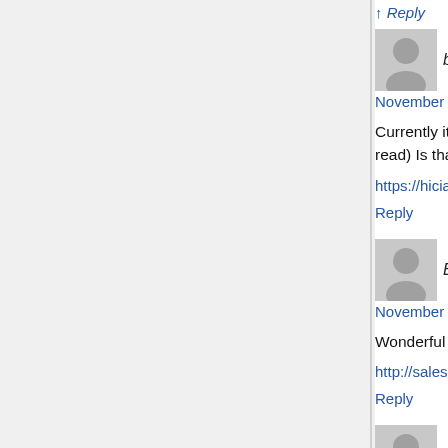Reply (top, partially visible)
buy cialis says:
November 27, 2020 at 8:38 am

Currently it appears like BlogEngine is the prefe... read) Is that what you're using on your blog?

https://hicialisrx.com/

Reply
Best online sale says:
November 27, 2020 at 2:51 pm

Wonderful article! We are linking to this great co...

http://saleslinkr.com/

Reply
thé rouge says:
November 27, 2020 at 9:37 pm

Hello, I think your blog might be having browser... it looks fine but when opening in Internet Explor... quick heads up! Other then that, awesome blog!